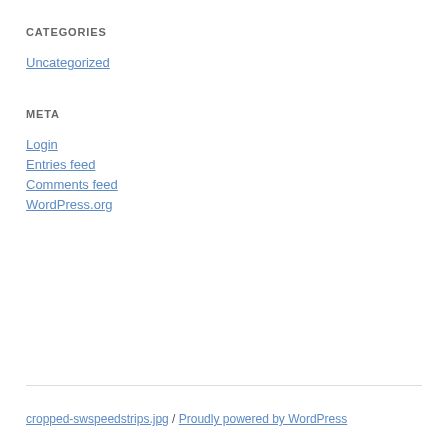CATEGORIES
Uncategorized
META
Login
Entries feed
Comments feed
WordPress.org
cropped-swspeedstrips.jpg / Proudly powered by WordPress